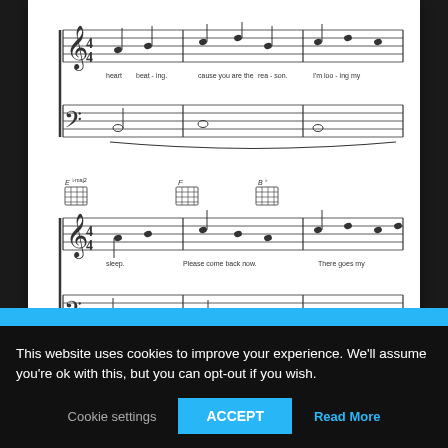[Figure (illustration): Scanned sheet music for 'You Are The Reason' by Calum Scott, showing two systems of piano/vocal music with chord symbols (Ebmaj2, F, Bb) and lyrics including 'heart beat-ing, cause you are the rea-son, I'm loo-ing my', 'sleep. Please come back now. There goes my'. Watermark text: SheetMusic-Free.com]
You Are The Reason Sheet Music Calum Scott
This website uses cookies to improve your experience. We'll assume you're ok with this, but you can opt-out if you wish.
Cookie settings  ACCEPT  Read More